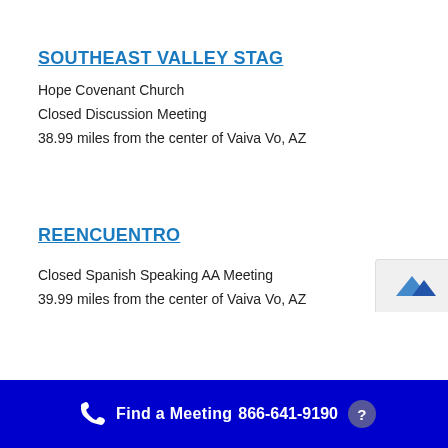SOUTHEAST VALLEY STAG
Hope Covenant Church
Closed Discussion Meeting
38.99 miles from the center of Vaiva Vo, AZ
REENCUENTRO
Closed Spanish Speaking AA Meeting
39.99 miles from the center of Vaiva Vo, AZ
Find a Meeting  866-641-9190